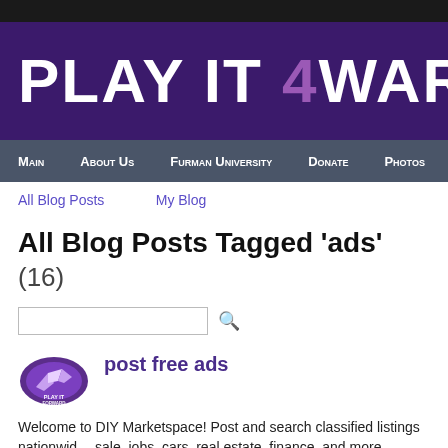PLAY IT 4WARD - SAN
Main  About Us  Furman University  Donate  Photos  Tea
All Blog Posts   My Blog
All Blog Posts Tagged 'ads' (16)
[Figure (other): Search input box with magnifying glass search icon]
[Figure (logo): Play It Forward logo - purple circular logo with bird/wing design and text PLAY IT FORWARD]
post free ads
Welcome to DIY Marketspace! Post and search classified listings nationwide: items for sale, jobs, cars, real estate, finance, and more.
https://www.diymarketspace.com/
Added by john morton on January 20, 2020 at 2:18pm — No Comments